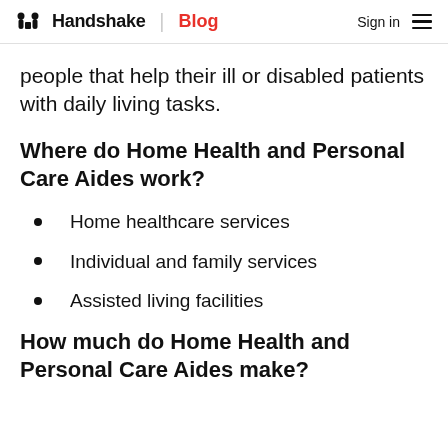Handshake | Blog  Sign in ≡
people that help their ill or disabled patients with daily living tasks.
Where do Home Health and Personal Care Aides work?
Home healthcare services
Individual and family services
Assisted living facilities
How much do Home Health and Personal Care Aides make?